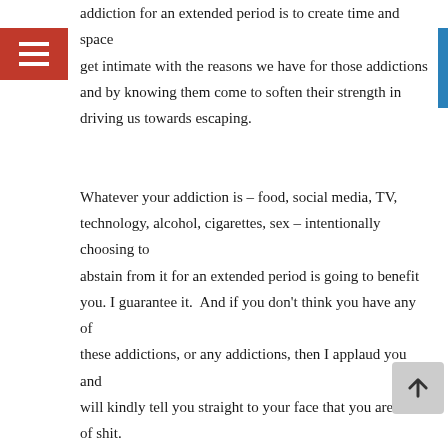addiction for an extended period is to create time and space get intimate with the reasons we have for those addictions and by knowing them come to soften their strength in driving us towards escaping.

Whatever your addiction is – food, social media, TV, technology, alcohol, cigarettes, sex – intentionally choosing to abstain from it for an extended period is going to benefit you. I guarantee it.  And if you don't think you have any of these addictions, or any addictions, then I applaud you and will kindly tell you straight to your face that you are full of shit. We are all a little cracked and some of your crazy spills out into the world, just like the rest of us.

So pick one or two of your particularly undesirable addictions or vices that you know you don't like and go without it. Start